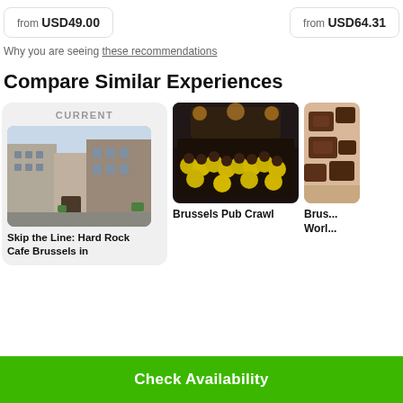from USD49.00
from USD64.31
Why you are seeing these recommendations
Compare Similar Experiences
[Figure (photo): Current card with CURRENT label, photo of Hard Rock Cafe Brussels building exterior, and card titled 'Skip the Line: Hard Rock Cafe Brussels...']
[Figure (photo): Photo of Brussels Pub Crawl group of people in yellow shirts at night]
[Figure (photo): Partial photo showing chocolates, card title 'Brus... War...']
Check Availability